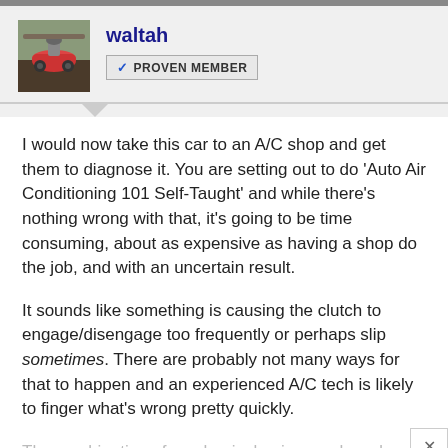waltah / PROVEN MEMBER
I would now take this car to an A/C shop and get them to diagnose it. You are setting out to do 'Auto Air Conditioning 101 Self-Taught' and while there's nothing wrong with that, it's going to be time consuming, about as expensive as having a shop do the job, and with an uncertain result.
It sounds like something is causing the clutch to engage/disengage too frequently or perhaps slip sometimes. There are probably not many ways for that to happen and an experienced A/C tech is likely to finger what's wrong pretty quickly.
The combination of mechanical noise you heard and the feeling of a heavy load pulsing makes me wonder about